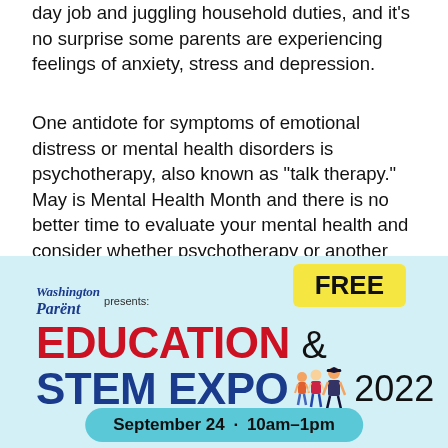day job and juggling household duties, and it's no surprise some parents are experiencing feelings of anxiety, stress and depression.
One antidote for symptoms of emotional distress or mental health disorders is psychotherapy, also known as “talk therapy.” May is Mental Health Month and there is no better time to evaluate your mental health and consider whether psychotherapy or another treatment option is right for you.
[Figure (infographic): Advertisement for Washington Parent Education & STEM Expo 2022. Includes a FREE badge, Washington Parent presents logo, Education & STEM EXPO 2022 title with cartoon figures of children and a teacher, and a teal pill-shaped banner reading 'September 24 · 10am–1pm']